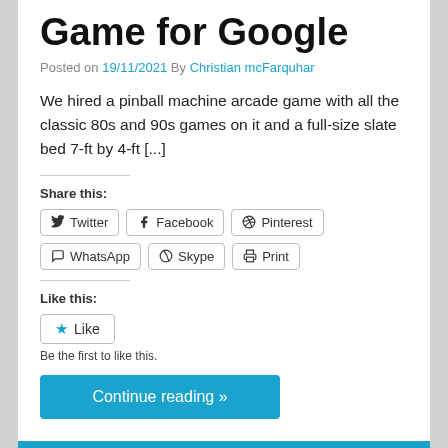Game for Google
Posted on 19/11/2021 By Christian mcFarquhar
We hired a pinball machine arcade game with all the classic 80s and 90s games on it and a full-size slate bed 7-ft by 4-ft [...]
Share this:
Twitter  Facebook  Pinterest  WhatsApp  Skype  Print
Like this:
Like
Be the first to like this.
Continue reading »